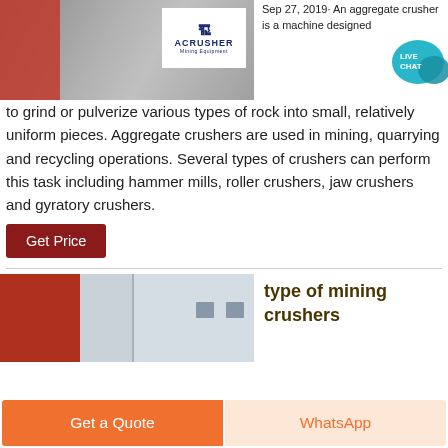[Figure (photo): Industrial crusher machine with red components and ACRUSHER Mining Equipment logo on white background]
Sep 27, 2019· An aggregate crusher is a machine designed to grind or pulverize various types of rock into small, relatively uniform pieces. Aggregate crushers are used in mining, quarrying and recycling operations. Several types of crushers can perform this task including hammer mills, roller crushers, jaw crushers and gyratory crushers.
[Figure (illustration): Live chat bubble icon with text LIVE CHAT]
Get Price
[Figure (photo): Mining crusher facility with red equipment and white metal building]
type of mining crushers
Get a Quote
WhatsApp